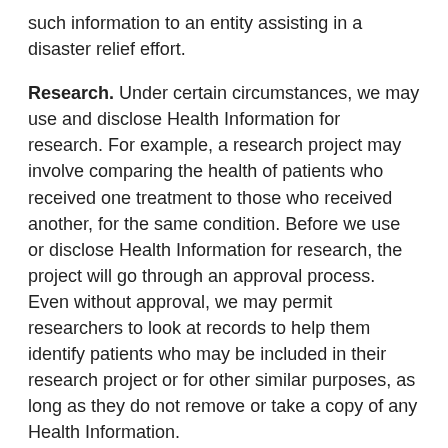such information to an entity assisting in a disaster relief effort.
Research. Under certain circumstances, we may use and disclose Health Information for research. For example, a research project may involve comparing the health of patients who received one treatment to those who received another, for the same condition. Before we use or disclose Health Information for research, the project will go through an approval process. Even without approval, we may permit researchers to look at records to help them identify patients who may be included in their research project or for other similar purposes, as long as they do not remove or take a copy of any Health Information.
Fundraising and Marketing. Health Information may be used for fundraising communications, but you have the right to opt-out of receiving such communications. Except for the exceptions detailed above, uses and disclosures of Health Information for marketing purposes, as well as disclosures that constitute a sale of Health Information, require your authorization if we receive any financial remuneration from a third party in exchange for making the communication, and we must advise you that we are